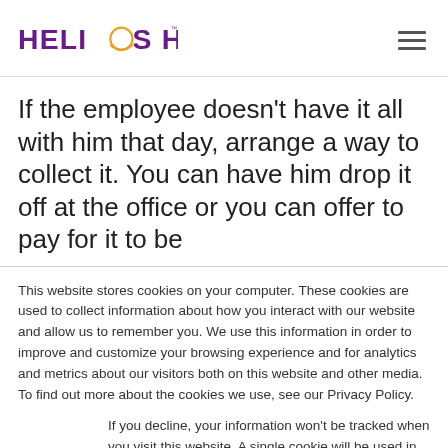Helios HR
If the employee doesn't have it all with him that day, arrange a way to collect it.  You can have him drop it off at the office or you can offer to pay for it to be
This website stores cookies on your computer. These cookies are used to collect information about how you interact with our website and allow us to remember you. We use this information in order to improve and customize your browsing experience and for analytics and metrics about our visitors both on this website and other media. To find out more about the cookies we use, see our Privacy Policy.
If you decline, your information won't be tracked when you visit this website. A single cookie will be used in your browser to remember your preference not to be tracked.
Accept  Decline